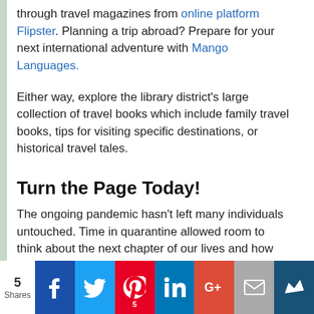through travel magazines from online platform Flipster. Planning a trip abroad? Prepare for your next international adventure with Mango Languages.
Either way, explore the library district's large collection of travel books which include family travel books, tips for visiting specific destinations, or historical travel tales.
Turn the Page Today!
The ongoing pandemic hasn't left many individuals untouched. Time in quarantine allowed room to think about the next chapter of our lives and how we will turn the page. No matter what you envision, the library will help you succeed. Visit the library online or in person for resources and services that will turn an opportunity into a reality.
[Figure (infographic): Social sharing bar with share count of 5 and icons for Facebook, Twitter, Pinterest (5), LinkedIn, Google+, Email, and Crown/bookmark service]